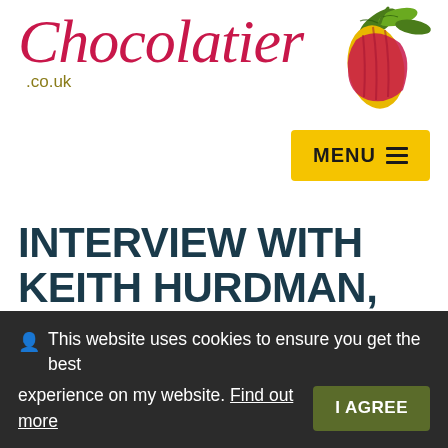[Figure (logo): Chocolatier.co.uk logo with cursive red script text and a cacao pod illustration in red, yellow and green]
MENU ≡
INTERVIEW WITH KEITH HURDMAN, THORNTONS' MASTER CHOCOLATIER
🏠 Chocolatier.co.uk › Latest Chocolate News › Interview with Keith Hurdman, Thorntons' Master Chocolatier
This website uses cookies to ensure you get the best experience on my website. Find out more   I AGREE